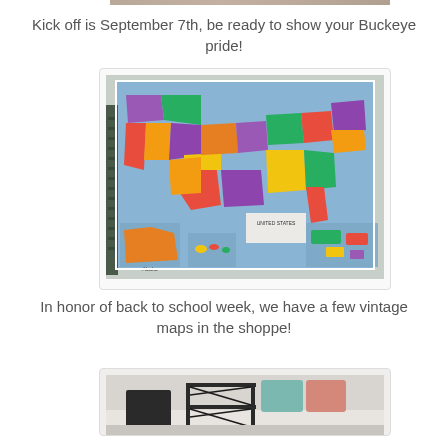[Figure (photo): Partial top image strip showing a photo (cropped at top of page)]
Kick off is September 7th, be ready to show your Buckeye pride!
[Figure (photo): Photo of a colorful United States wall map hung on a white wall, with a dark shutter visible on the left side]
In honor of back to school week, we have a few vintage maps in the shoppe!
[Figure (photo): Partial bottom photo showing decorative items including what appears to be metal shelving or rack with colorful pillows in background]